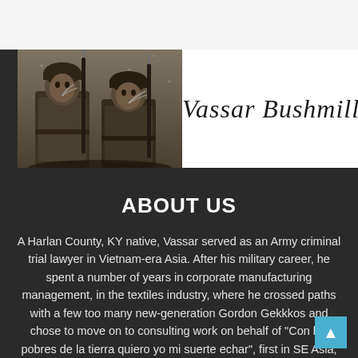[Figure (photo): Two soldiers in heavy winter coats holding rifles, sepia-toned historical military photograph]
[Figure (logo): Vassar Bushmills signature-style cursive logo on white background]
ABOUT US
A Harlan County, KY native, Vassar served as an Army criminal trial lawyer in Vietnam-era Asia. After his military career, he spent a number of years in corporate manufacturing management, in the textiles industry, where he crossed paths with a few too many new-generation Gordon Gekkkos and chose to move on to consulting work on behalf of "Con los pobres de la tierra quiero yo mi suerte echar", first in SE Asia,